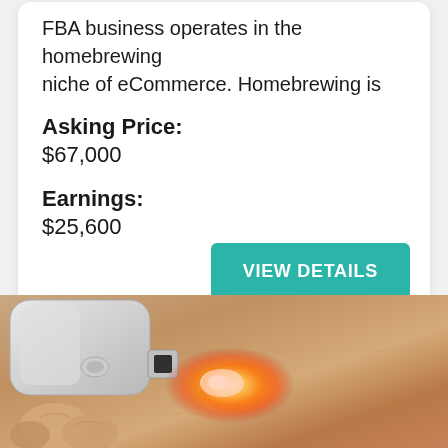FBA business operates in the homebrewing niche of eCommerce. Homebrewing is
Asking Price:
$67,000
Earnings:
$25,600
VIEW DETAILS
[Figure (photo): Close-up photo of a handheld device emitting red/orange laser or LED light onto human skin, suggesting a medical or beauty device in use.]